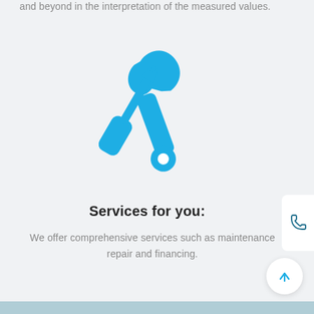and beyond in the interpretation of the measured values.
[Figure (illustration): Blue icon showing crossed screwdriver and wrench tools, representing maintenance and repair services]
Services for you:
We offer comprehensive services such as maintenance repair and financing.